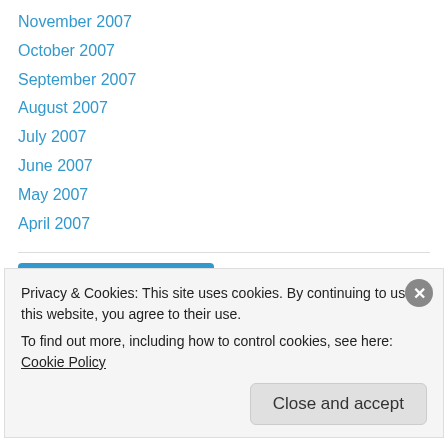November 2007
October 2007
September 2007
August 2007
July 2007
June 2007
May 2007
April 2007
[Figure (other): Follow Lucid Culture WordPress button]
Advertisements
Privacy & Cookies: This site uses cookies. By continuing to use this website, you agree to their use. To find out more, including how to control cookies, see here: Cookie Policy
Close and accept